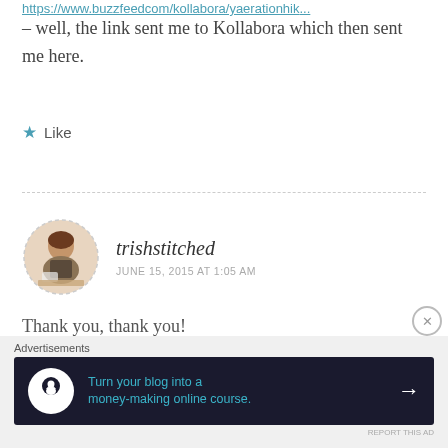https://www.buzzfeedcom/kollabora/yaerationhik... – well, the link sent me to Kollabora which then sent me here.
★ Like
trishstitched
JUNE 15, 2015 AT 1:05 AM
Thank you, thank you!
★ Like
[Figure (photo): Circular dashed-border avatar photo of trishstitched commenter, woman near a sewing machine]
Advertisements
[Figure (infographic): Dark navy advertisement banner: circular white icon with tree/person silhouette, teal text 'Turn your blog into a money-making online course.' with white right arrow]